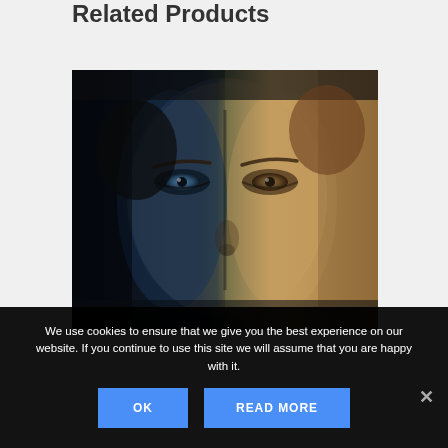Related Products
[Figure (photo): Close-up portrait of a woman's face split into two halves: the left side lit with cool blue/dark tones, the right side lit with warm golden/yellow tones. The woman has dramatic eye makeup and is looking directly at the viewer.]
We use cookies to ensure that we give you the best experience on our website. If you continue to use this site we will assume that you are happy with it.
OK
READ MORE